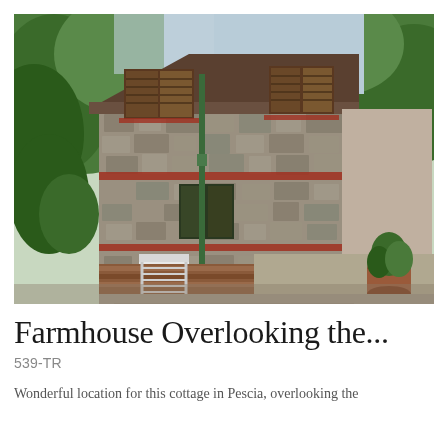[Figure (photo): Exterior photograph of a two-story Italian stone farmhouse with wooden shutters, red brick accent bands, green metal drainpipe, surrounded by lush green trees. A white metal chair sits in the foreground on a brick terrace. A courtyard with terracotta pot is visible to the right.]
Farmhouse Overlooking the...
539-TR
Wonderful location for this cottage in Pescia, overlooking the